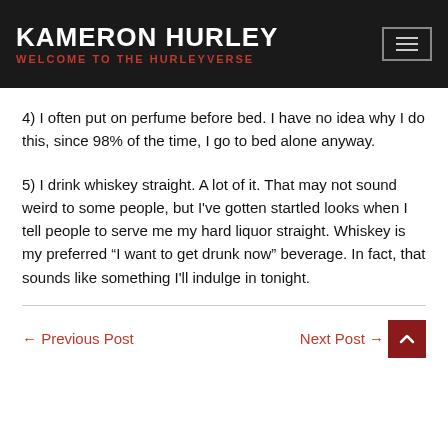KAMERON HURLEY / WELCOME TO THE HURLEYVERSE
4) I often put on perfume before bed. I have no idea why I do this, since 98% of the time, I go to bed alone anyway.
5) I drink whiskey straight. A lot of it. That may not sound weird to some people, but I've gotten startled looks when I tell people to serve me my hard liquor straight. Whiskey is my preferred “I want to get drunk now” beverage. In fact, that sounds like something I'll indulge in tonight.
← Previous Post | Next Post →